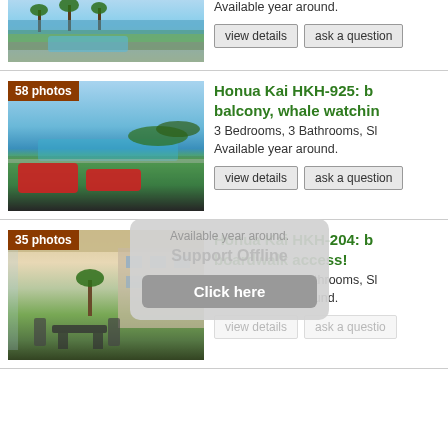[Figure (photo): Aerial/elevated view of beach resort with palm trees and pool]
Available year around.
view details | ask a question
[Figure (photo): Balcony view with red lounge chairs overlooking pool and ocean – 58 photos]
Honua Kai HKH-925: balcony, whale watching
3 Bedrooms, 3 Bathrooms, Sl
Available year around.
view details | ask a question
[Figure (photo): Ground floor lanai with table and chairs overlooking resort – 35 photos]
Honua Kai HKH-204: boardwalk access!
3 Bedrooms, 3 Bathrooms, Sl
Available year around.
Support Offline – Click here
view details | ask a question